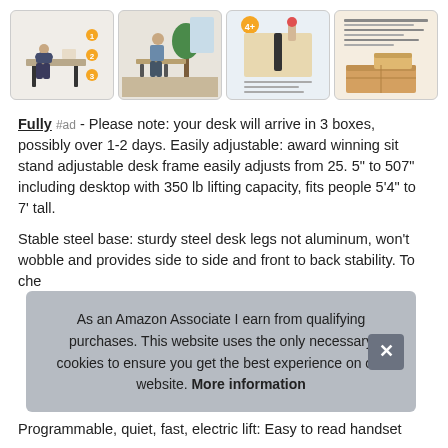[Figure (photo): Four product thumbnail images of a sit-stand adjustable desk arranged in a row: person sitting at desk with icons, person using standing desk in room, top-down view of desk surface with monitor arm, and shipping boxes.]
Fully #ad - Please note: your desk will arrive in 3 boxes, possibly over 1-2 days. Easily adjustable: award winning sit stand adjustable desk frame easily adjusts from 25. 5" to 507" including desktop with 350 lb lifting capacity, fits people 5'4" to 7' tall.
Stable steel base: sturdy steel desk legs not aluminum, won't wobble and provides side to side and front to back stability. To che
As an Amazon Associate I earn from qualifying purchases. This website uses the only necessary cookies to ensure you get the best experience on our website. More information
Programmable, quiet, fast, electric lift: Easy to read handset